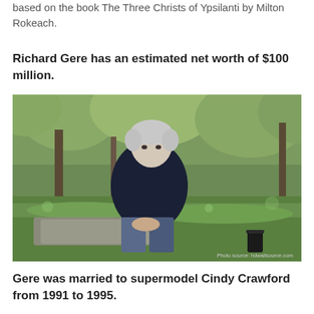based on the book The Three Christs of Ypsilanti by Milton Rokeach.
Richard Gere has an estimated net worth of $100 million.
[Figure (photo): Richard Gere sitting outdoors on stone steps in a park setting, wearing a dark blazer and jeans, with green grass and trees in the background. Photo source: hdwallsource.com]
Gere was married to supermodel Cindy Crawford from 1991 to 1995.